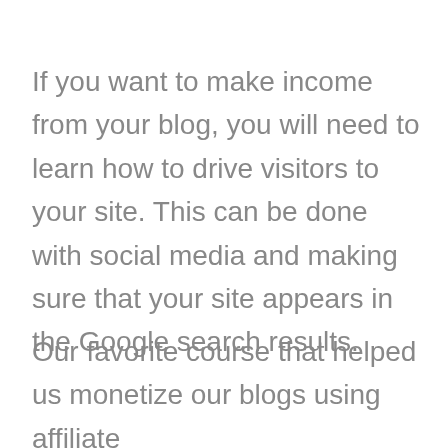If you want to make income from your blog, you will need to learn how to drive visitors to your site. This can be done with social media and making sure that your site appears in the Google search results.
Our favorite course that helped us monetize our blogs using affiliate